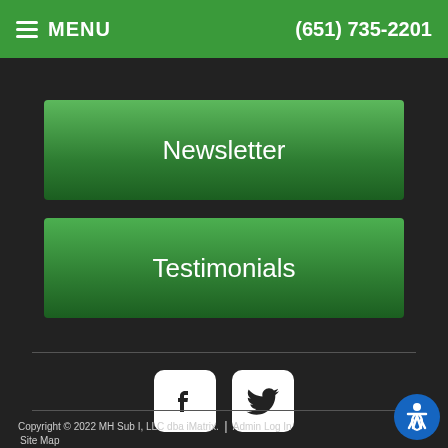MENU   (651) 735-2201
Newsletter
Testimonials
[Figure (illustration): Facebook and Twitter social media icons as white rounded square buttons on dark background]
Copyright © 2022 MH Sub I, LLC dba iMatrix.  |  Admin Log In  Site Map